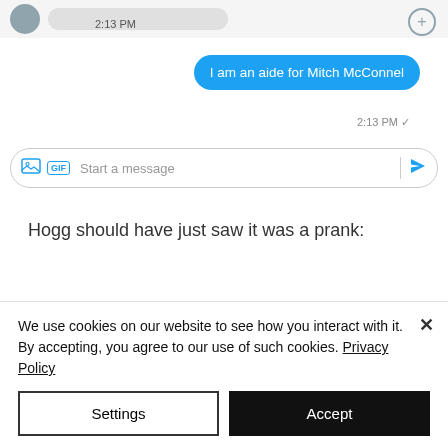[Figure (screenshot): Top of a messaging app interface showing avatar row with blurred name and a '+' button, with timestamp '2:13 PM' below the avatar]
I am an aide for Mitch McConnel
2:13 PM ✓
[Figure (screenshot): Message input bar with image icon, GIF button, 'Start a message' placeholder, divider, and send arrow button]
Hogg should have just saw it was a prank:
SLANG DICTIONARY
hofe
We use cookies on our website to see how you interact with it. By accepting, you agree to our use of such cookies. Privacy Policy
Settings
Accept